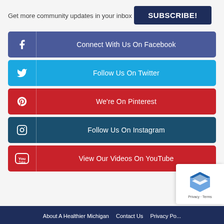Get more community updates in your inbox
SUBSCRIBE!
Connect With Us On Facebook
Follow Us On Twitter
We're On Pinterest
Follow Us On Instagram
View Our Videos On YouTube
About A Healthier Michigan   Contact Us   Privacy Po...